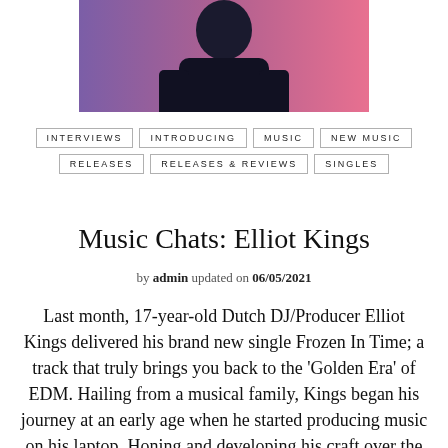[Figure (photo): Top portion of a photo showing a person against a purple/pink gradient background, cropped at the top of the page]
INTERVIEWS
INTRODUCING
MUSIC
NEW MUSIC
RELEASES
RELEASES & REVIEWS
SINGLES
Music Chats: Elliot Kings
by admin updated on 06/05/2021
Last month, 17-year-old Dutch DJ/Producer Elliot Kings delivered his brand new single Frozen In Time; a track that truly brings you back to the 'Golden Era' of EDM. Hailing from a musical family, Kings began his journey at an early age when he started producing music on his laptop. Honing and developing his craft over the